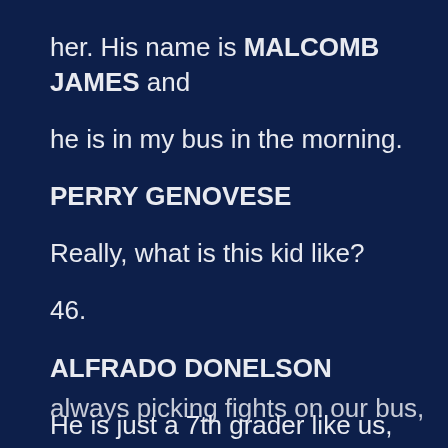her. His name is MALCOMB JAMES and he is in my bus in the morning.
PERRY GENOVESE
Really, what is this kid like?
46.
ALFRADO DONELSON
He is just a 7th grader like us,
but I think he wants to be known by
his friends as a ‘Hard Ass.’ He is
always picking fights on our bus,